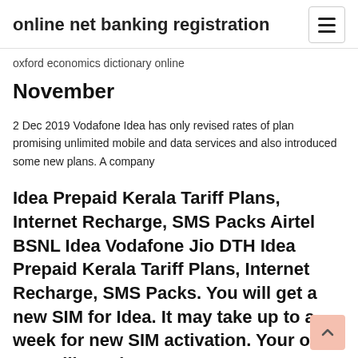online net banking registration
oxford economics dictionary online
November
2 Dec 2019 Vodafone Idea has only revised rates of plan promising unlimited mobile and data services and also introduced some new plans. A company
Idea Prepaid Kerala Tariff Plans, Internet Recharge, SMS Packs Airtel BSNL Idea Vodafone Jio DTH Idea Prepaid Kerala Tariff Plans, Internet Recharge, SMS Packs. You will get a new SIM for Idea. It may take up to a week for new SIM activation. Your old SIM will continue to